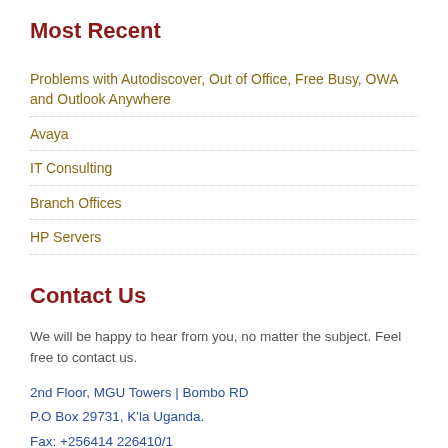Most Recent
Problems with Autodiscover, Out of Office, Free Busy, OWA and Outlook Anywhere
Avaya
IT Consulting
Branch Offices
HP Servers
Contact Us
We will be happy to hear from you, no matter the subject. Feel free to contact us.
2nd Floor, MGU Towers | Bombo RD
P.O Box 29731, K'la Uganda.
Fax: +256414 226410/1
Direct office line: +256392124407